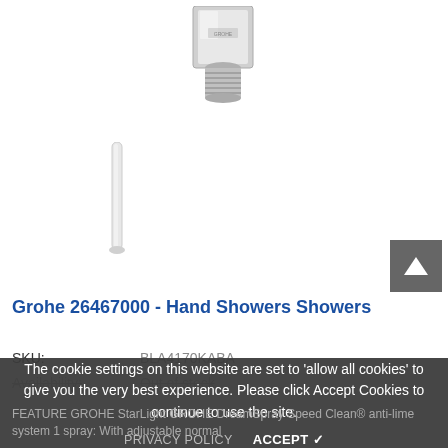[Figure (photo): Grohe chrome square wall outlet/connector fitting shown from front angle, with threaded connection visible at bottom]
[Figure (photo): Long narrow white hose or tube component shown vertically]
Grohe 26467000 - Hand Showers Showers
SKU: BLA4170KABA
Availability: Out of stock
The cookie settings on this website are set to 'allow all cookies' to give you the very best experience. Please click Accept Cookies to continue to use the site.
PRIVACY POLICY   ACCEPT ✓
FEATURE GROHE StarLight GROHE DreamSpray Speed Clean® anti-lime system 1 spray: With adjustable normal